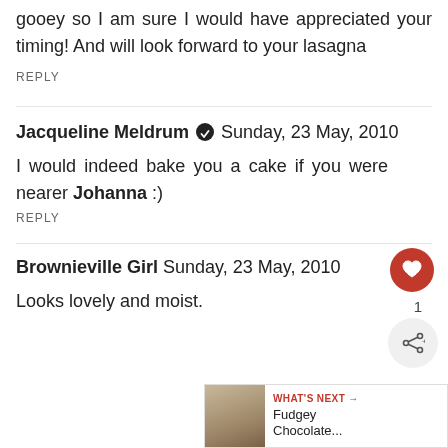gooey so I am sure I would have appreciated your timing! And will look forward to your lasagna
REPLY
Jacqueline Meldrum ✓ Sunday, 23 May, 2010
I would indeed bake you a cake if you were nearer Johanna :)
REPLY
Brownieville Girl Sunday, 23 May, 2010
Looks lovely and moist.
WHAT'S NEXT → Fudgey Chocolate...